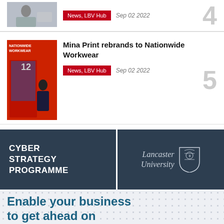[Figure (photo): Thumbnail of person at computer (item 4)]
News, LBV Hub
Sep 02 2022
4
[Figure (photo): Thumbnail of Nationwide Workwear storefront with person standing outside]
Mina Print rebrands to Nationwide Workwear
News, LBV Hub
Sep 02 2022
5
[Figure (infographic): Lancaster University Cyber Strategy Programme advertisement banner with dark navy background, showing 'CYBER STRATEGY PROGRAMME' text on left and Lancaster University logo on right]
Enable your business to get ahead on